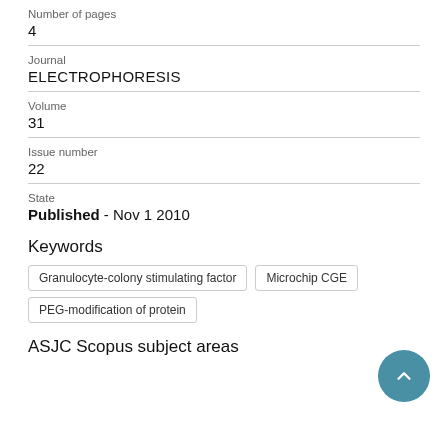Number of pages
4
Journal
ELECTROPHORESIS
Volume
31
Issue number
22
State
Published - Nov 1 2010
Keywords
Granulocyte-colony stimulating factor
Microchip CGE
PEG-modification of protein
ASJC Scopus subject areas